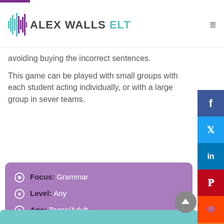ALEX WALLS ELT
avoiding buying the incorrect sentences.
This game can be played with small groups with each student acting individually, or with a large group in several teams.
Focus: Grammar
Level: Any
Age: Teens/Adult
Target Language: Any
Time: 25-40 minutes
Preparation: Prepare a list of sentences, some of which have mistakes